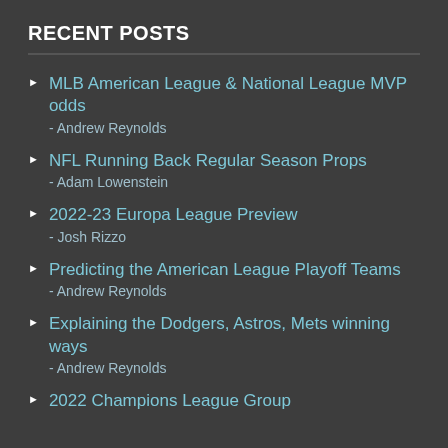RECENT POSTS
MLB American League & National League MVP odds - Andrew Reynolds
NFL Running Back Regular Season Props - Adam Lowenstein
2022-23 Europa League Preview - Josh Rizzo
Predicting the American League Playoff Teams - Andrew Reynolds
Explaining the Dodgers, Astros, Mets winning ways - Andrew Reynolds
2022 Champions League Group